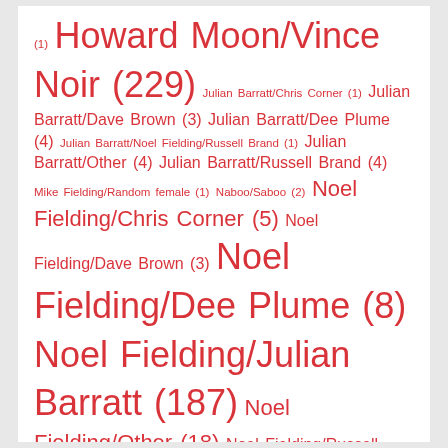(1) Howard Moon/Vince Noir (229) Julian Barratt/Chris Corner (1) Julian Barratt/Dave Brown (3) Julian Barratt/Dee Plume (4) Julian Barratt/Noel Fielding/Russell Brand (1) Julian Barratt/Other (4) Julian Barratt/Russell Brand (4) Mike Fielding/Random female (1) Naboo/Saboo (2) Noel Fielding/Chris Corner (5) Noel Fielding/Dave Brown (3) Noel Fielding/Dee Plume (8) Noel Fielding/Julian Barratt (187) Noel Fielding/Other (18) Noel Fielding/Russell Brand (4) Pete Sweet/Stitch (5) Rosey/Bauer (6) Rudi/Spider (4) Rudi/The Hitcher (1) Saboo/Dennis (1) Saboo/Tony Harrison (1) Simon Amstell/Matt Shultz (1) Sue Denim/Chris Corner (3)